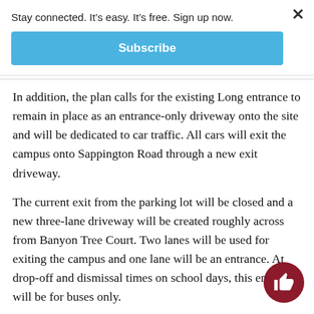Stay connected. It's easy. It's free. Sign up now.
Subscribe
In addition, the plan calls for the existing Long entrance to remain in place as an entrance-only driveway onto the site and will be dedicated to car traffic. All cars will exit the campus onto Sappington Road through a new exit driveway.
The current exit from the parking lot will be closed and a new three-lane driveway will be created roughly across from Banyon Tree Court. Two lanes will be used for exiting the campus and one lane will be an entrance. At drop-off and dismissal times on school days, this entrance will be for buses only.
Buses will exit through Doercrest Drive, which will be except when used by five buses twice a day.